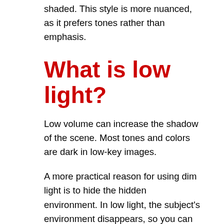When using low light, the surface of the model is shaded. This style is more nuanced, as it prefers tones rather than emphasis.
What is low light?
Low volume can increase the shadow of the scene. Most tones and colors are dark in low-key images.
A more practical reason for using dim light is to hide the hidden environment. In low light, the subject's environment disappears, so you can easily remove anything that interferes with or reduces the lens's feel. The intensity of low-brightness lighting is shaded. Because most images are dark, the viewer is forced to use their imagination to explain the scene.